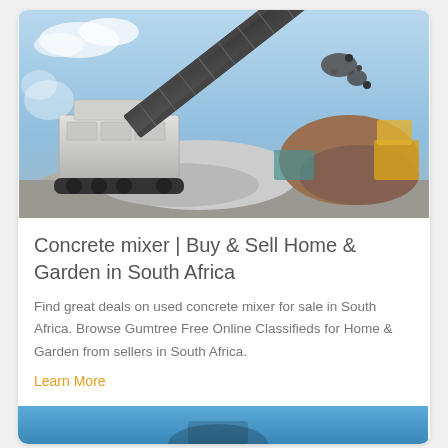[Figure (photo): A large industrial rock crushing / concrete mixer machine on tracks, with a conveyor belt raising material, outdoors at a gravel/quarry site under a blue sky.]
Concrete mixer | Buy & Sell Home & Garden in South Africa
Find great deals on used concrete mixer for sale in South Africa. Browse Gumtree Free Online Classifieds for Home & Garden from sellers in South Africa.
Learn More
[Figure (photo): Bottom strip showing a blue-toned image, partially visible.]